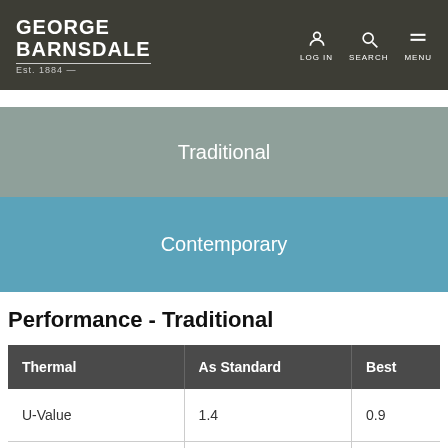GEORGE BARNSDALE Est. 1884 | LOG IN | SEARCH | MENU
Traditional
Contemporary
Performance - Traditional
| Thermal | As Standard | Best |
| --- | --- | --- |
| U-Value | 1.4 | 0.9 |
| Energy Rating | B | A+ |